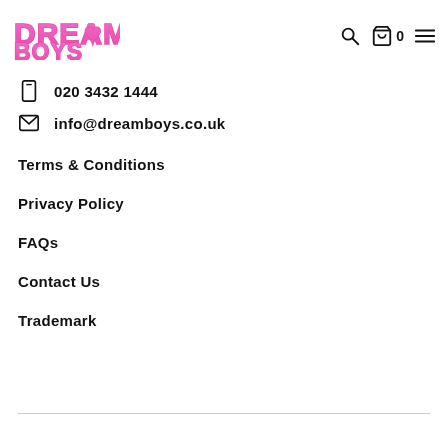[Figure (logo): Dreamboys logo in pink outlined block letters]
020 3432 1444
info@dreamboys.co.uk
Terms & Conditions
Privacy Policy
FAQs
Contact Us
Trademark